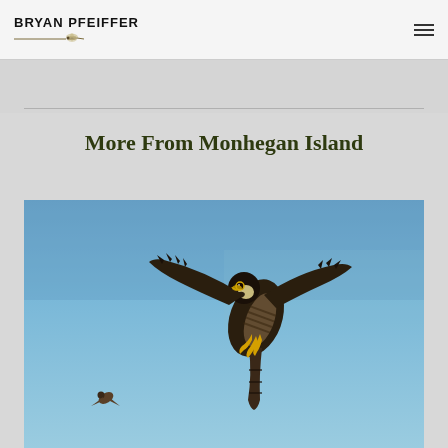BRYAN PFEIFFER
More From Monhegan Island
[Figure (photo): A peregrine falcon in flight against a clear blue sky, wings spread and talons visible, with a smaller bird (prey) visible in the lower left of the frame.]